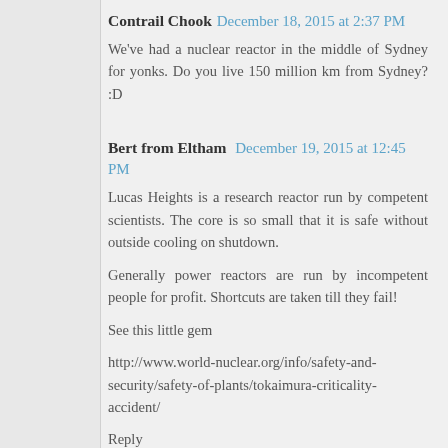Contrail Chook  December 18, 2015 at 2:37 PM
We've had a nuclear reactor in the middle of Sydney for yonks. Do you live 150 million km from Sydney? :D
Bert from Eltham  December 19, 2015 at 12:45 PM
Lucas Heights is a research reactor run by competent scientists. The core is so small that it is safe without outside cooling on shutdown.

Generally power reactors are run by incompetent people for profit. Shortcuts are taken till they fail!

See this little gem

http://www.world-nuclear.org/info/safety-and-security/safety-of-plants/tokaimura-criticality-accident/
Reply